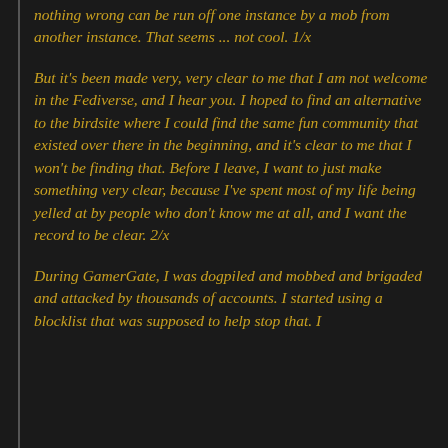nothing wrong can be run off one instance by a mob from another instance. That seems ... not cool. 1/x
But it's been made very, very clear to me that I am not welcome in the Fediverse, and I hear you. I hoped to find an alternative to the birdsite where I could find the same fun community that existed over there in the beginning, and it's clear to me that I won't be finding that. Before I leave, I want to just make something very clear, because I've spent most of my life being yelled at by people who don't know me at all, and I want the record to be clear. 2/x
During GamerGate, I was dogpiled and mobbed and brigaded and attacked by thousands of accounts. I started using a blocklist that was supposed to help stop that. I